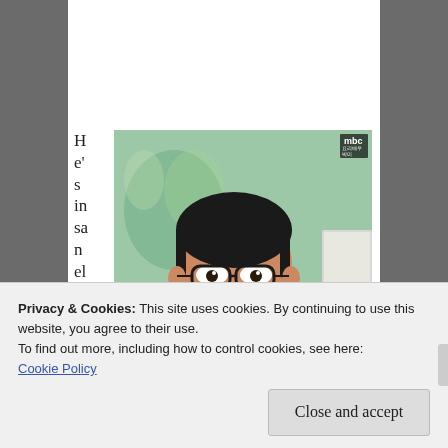He's insanely lo
[Figure (photo): A man with glasses and dark hair wearing a blue shirt, mouth open in surprise/shock expression. MBC network watermark in top right corner. Screenshot from a Korean TV drama.]
yal and ridiculously funny. He always covers for Yeon Joo, always helps her, always listens, always picks her up from wherever she needs
Privacy & Cookies: This site uses cookies. By continuing to use this website, you agree to their use.
To find out more, including how to control cookies, see here:
Cookie Policy
Close and accept